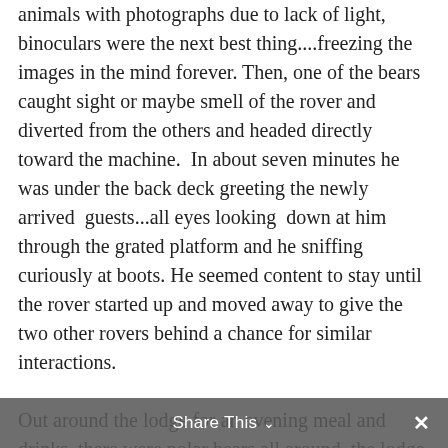animals with photographs due to lack of light, binoculars were the next best thing....freezing the images in the mind forever. Then, one of the bears caught sight or maybe smell of the rover and diverted from the others and headed directly toward the machine.  In about seven minutes he was under the back deck greeting the newly arrived  guests...all eyes looking  down at him through the grated platform and he sniffing curiously at boots. He seemed content to stay until the rover started up and moved away to give the two other rovers behind a chance for similar interactions.

Out around the lodge for an evening meal and drinks, there were polar bears all around  the lodge area....Amy's group counted at least ten. The highlight of the night was a big male approaching their rover and hopping up to take a closer look through a window and the guest looking back out the window into the
Share This ∨  ✕